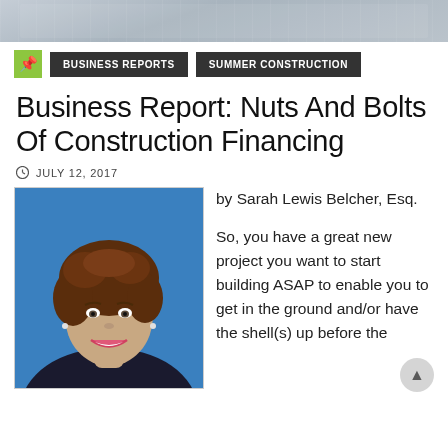[Figure (photo): Top banner image strip — blurred background showing documents/papers]
BUSINESS REPORTS   SUMMER CONSTRUCTION
Business Report: Nuts And Bolts Of Construction Financing
JULY 12, 2017
[Figure (photo): Headshot photograph of Sarah Lewis Belcher, Esq. — woman with curly brown hair smiling, wearing dark jacket, against blue background]
by Sarah Lewis Belcher, Esq.

So, you have a great new project you want to start building ASAP to enable you to get in the ground and/or have the shell(s) up before the